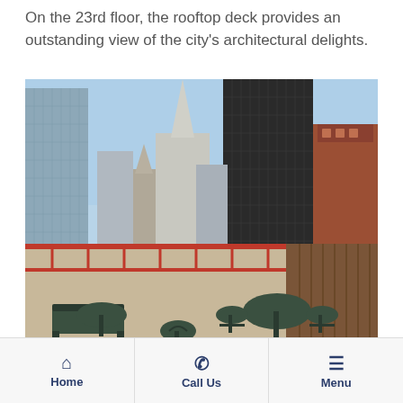On the 23rd floor, the rooftop deck provides an outstanding view of the city's architectural delights.
[Figure (photo): Rooftop deck on the 23rd floor with wrought iron patio furniture — tables and chairs — a red metal railing, and a panoramic view of city skyscrapers including a prominent spire, under a clear blue sky.]
Other Information
[Figure (infographic): Live Chat button — dark red/crimson background with a white chat bubble icon and white bold text reading LIVE CHAT]
Home | Call Us | Menu